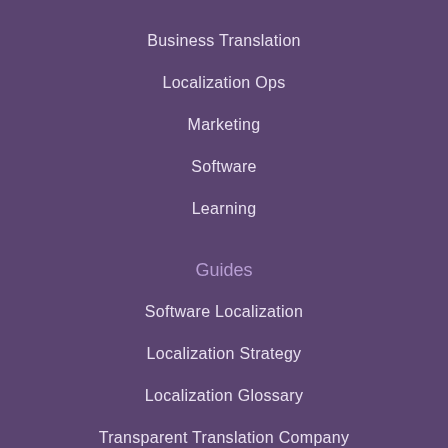Business Translation
Localization Ops
Marketing
Software
Learning
Guides
Software Localization
Localization Strategy
Localization Glossary
Transparent Translation Company